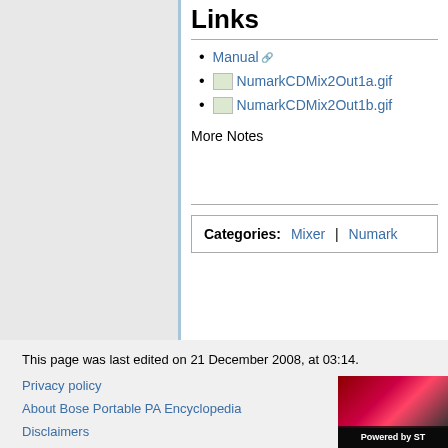Links
Manual
NumarkCDMix2Out1a.gif
NumarkCDMix2Out1b.gif
More Notes
| Categories: | Mixer | | | Numark |
This page was last edited on 21 December 2008, at 03:14.
Privacy policy
About Bose Portable PA Encyclopedia
Disclaimers
[Figure (photo): Powered by ST logo image in bottom right corner]